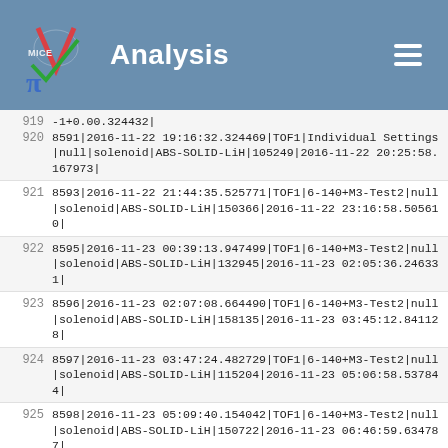Analysis
919  -1+0.00.324432|
8591|2016-11-22 19:16:32.324469|TOF1|Individual Settings|null|solenoid|ABS-SOLID-LiH|105249|2016-11-22 20:25:58.167973|
921  8593|2016-11-22 21:44:35.525771|TOF1|6-140+M3-Test2|null|solenoid|ABS-SOLID-LiH|150366|2016-11-22 23:16:58.505610|
922  8595|2016-11-23 00:39:13.947499|TOF1|6-140+M3-Test2|null|solenoid|ABS-SOLID-LiH|132945|2016-11-23 02:05:36.246331|
923  8596|2016-11-23 02:07:08.664490|TOF1|6-140+M3-Test2|null|solenoid|ABS-SOLID-LiH|158135|2016-11-23 03:45:12.841128|
924  8597|2016-11-23 03:47:24.482729|TOF1|6-140+M3-Test2|null|solenoid|ABS-SOLID-LiH|115204|2016-11-23 05:06:58.537844|
925  8598|2016-11-23 05:09:40.154042|TOF1|6-140+M3-Test2|null|solenoid|ABS-SOLID-LiH|150722|2016-11-23 06:46:59.634787|
926  8599|2016-11-23 06:49:09.966282|TOF1|6-140+M3-Test2|null|solenoid|ABS-SOLID-LiH|123307|2016-11-23 08:12:09.484363|
927  8600|2016-11-23 08:29:55.785531|TOF1|6-140+M3-Test2|null|solenoid|ABS-SOLID-LiH|27429|2016-11-23 08:49:27.690049|
928  8601|2016-11-23 09:03:42.062550|TOF1|RefRun w/DS|null|solenoid|ABS-SOLID-LiH|44666|2016-11-23 09:15:14.129708|